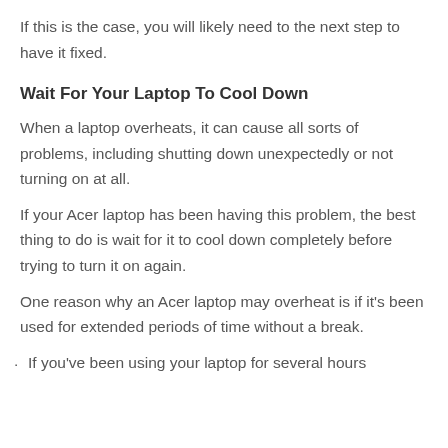If this is the case, you will likely need to the next step to have it fixed.
Wait For Your Laptop To Cool Down
When a laptop overheats, it can cause all sorts of problems, including shutting down unexpectedly or not turning on at all.
If your Acer laptop has been having this problem, the best thing to do is wait for it to cool down completely before trying to turn it on again.
One reason why an Acer laptop may overheat is if it's been used for extended periods of time without a break.
If you've been using your laptop for several hours